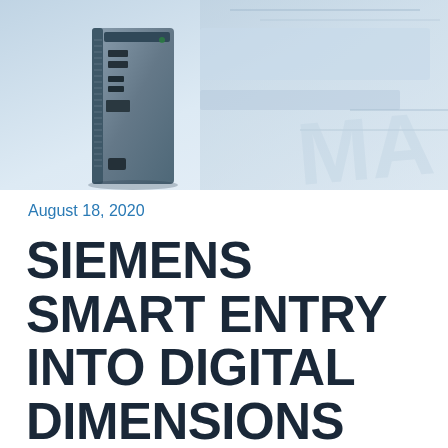[Figure (photo): Industrial computing device (Siemens hardware box) shown against a light blue-grey abstract background with circuit board elements]
August 18, 2020
SIEMENS SMART ENTRY INTO DIGITAL DIMENSIONS